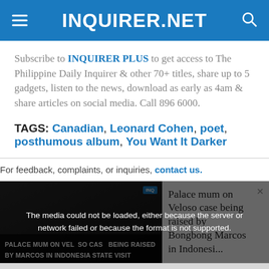INQUIRER.NET
Subscribe to INQUIRER PLUS to get access to The Philippine Daily Inquirer & other 70+ titles, share up to 5 gadgets, listen to the news, download as early as 4am & share articles on social media. Call 896 6000.
TAGS: Canadian, Leonard Cohen, poet, posthumous album, You Want It Darker
For feedback, complaints, or inquiries, contact us.
[Figure (screenshot): Video player showing 'Palace mum on Veloso case being raised by Bongbong Marcos in Indonesi...' with media error overlay: 'The media could not be loaded, either because the server or network failed or because the format is not supported.' and a close button X at the bottom.]